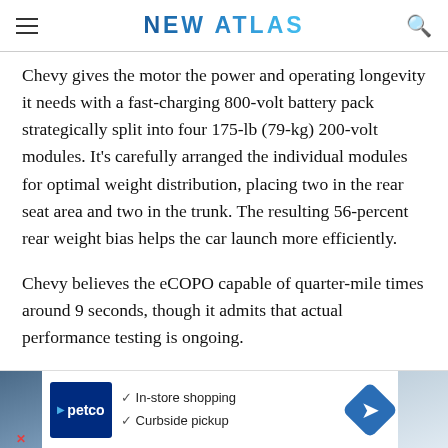NEW ATLAS
Chevy gives the motor the power and operating longevity it needs with a fast-charging 800-volt battery pack strategically split into four 175-lb (79-kg) 200-volt modules. It's carefully arranged the individual modules for optimal weight distribution, placing two in the rear seat area and two in the trunk. The resulting 56-percent rear weight bias helps the car launch more efficiently.
Chevy believes the eCOPO capable of quarter-mile times around 9 seconds, though it admits that actual performance testing is ongoing.
[Figure (other): Advertisement banner for Petco featuring in-store shopping and curbside pickup options, with Petco logo, navigation arrow icon, and partial photos on either side.]